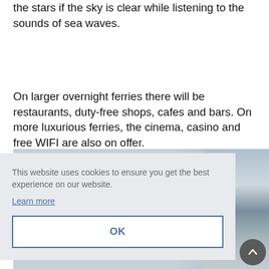the stars if the sky is clear while listening to the sounds of sea waves.
On larger overnight ferries there will be restaurants, duty-free shops, cafes and bars. On more luxurious ferries, the cinema, casino and free WIFI are also on offer.
[Figure (photo): Partial view of a seascape photograph showing water and a mountain/hillside on the right side, with a light grey/blue sky.]
This website uses cookies to ensure you get the best experience on our website.
Learn more
OK